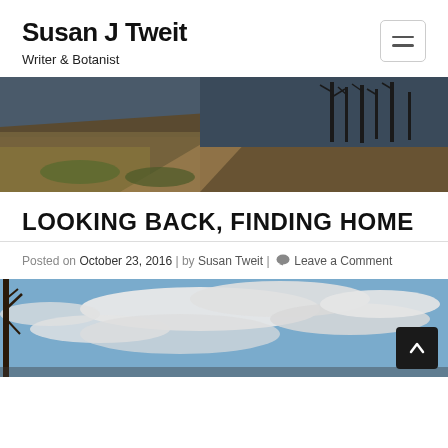Susan J Tweit
Writer & Botanist
[Figure (photo): Landscape photo showing a hillside with dry grass, a dirt path, bare trees, and a dark sky in the background]
LOOKING BACK, FINDING HOME
Posted on October 23, 2016 | by Susan Tweit | Leave a Comment
[Figure (photo): Outdoor photo showing cloudy blue sky with bare tree branches visible at the left edge]